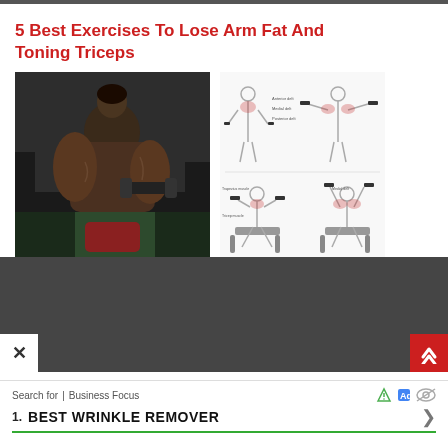5 Best Exercises To Lose Arm Fat And Toning Triceps
[Figure (photo): Muscular man in gym holding a large dumbbell, close-up shot showing arms and torso]
[Figure (illustration): Anatomical fitness diagram showing dumbbell exercises: lateral raises and seated dumbbell curls with muscle labels]
Search for  |  Business Focus
1.  BEST WRINKLE REMOVER